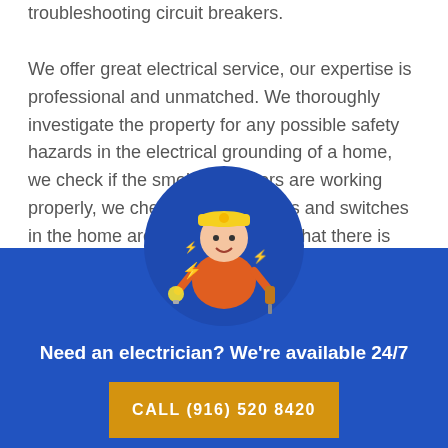troubleshooting circuit breakers.

We offer great electrical service, our expertise is professional and unmatched. We thoroughly investigate the property for any possible safety hazards in the electrical grounding of a home, we check if the smoke detectors are working properly, we check that the outlets and switches in the home are working well and that there is sufficient surge protection on the appliances and electronic being
[Figure (illustration): Cartoon electrician wearing a yellow hard hat and orange uniform, holding a lightbulb and screwdriver, with lightning bolt symbols, set inside a dark blue circle.]
Need an electrician? We're available 24/7
CALL (916) 520 8420